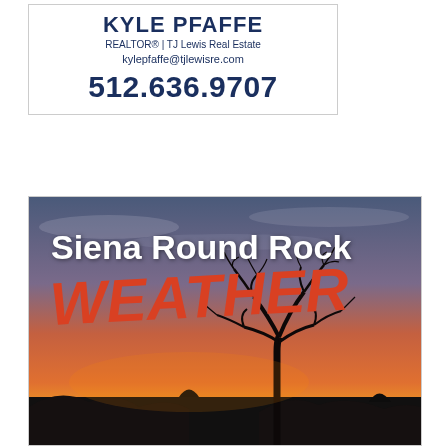KYLE PFAFFE
REALTOR® | TJ Lewis Real Estate
kylepfaffe@tjlewisre.com
512.636.9707
[Figure (photo): Sunset photo of a bare tree silhouetted against a vivid orange and red sky over a suburban neighborhood, with text overlays reading 'Siena Round Rock WEATHER']